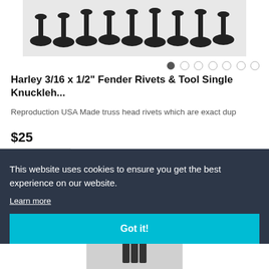[Figure (photo): Photograph of black truss head rivets arranged in a row on a gray surface]
[Figure (infographic): Carousel navigation dots: one filled dark dot followed by six empty circle dots]
Harley 3/16 x 1/2" Fender Rivets & Tool Single Knuckleh...
Reproduction USA Made truss head rivets which are exact dup...
$25...
This website uses cookies to ensure you get the best experience on our website.
Learn more
Got it!
[Figure (photo): Partial view of a second product image at the bottom of the page]